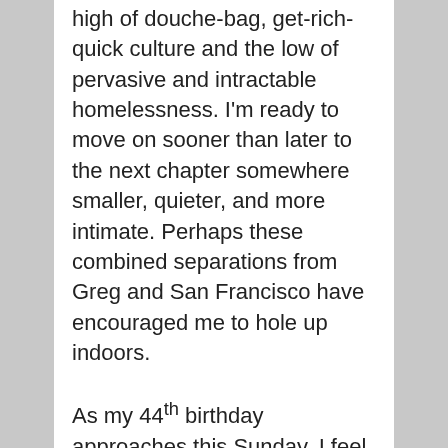high of douche-bag, get-rich-quick culture and the low of pervasive and intractable homelessness. I'm ready to move on sooner than later to the next chapter somewhere smaller, quieter, and more intimate. Perhaps these combined separations from Greg and San Francisco have encouraged me to hole up indoors.
As my 44th birthday approaches this Sunday, I feel also the end of my youth. Physically, I may run only a little slower, but emotionally, I need less the crowds, party, excitement that I so wanted and couldn't have